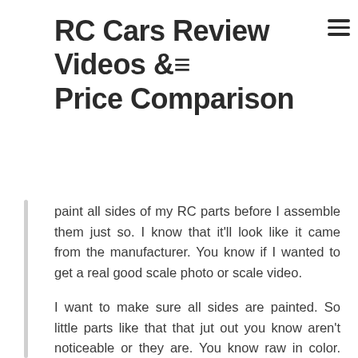RC Cars Review Videos & Price Comparison
paint all sides of my RC parts before I assemble them just so. I know that it'll look like it came from the manufacturer. You know if I wanted to get a real good scale photo or scale video.
I want to make sure all sides are painted. So little parts like that that jut out you know aren't noticeable or they are. You know raw in color. Now the next part is, is they want me to start putting together the inside? This is like the cab if you're a modeler, you're gon na love, this kind of thing, the joysticks, the arm pads everything fits together. You have to glue it. It does come 3d printed, so if you're really like a keener and you're into it – and you want to take a week to